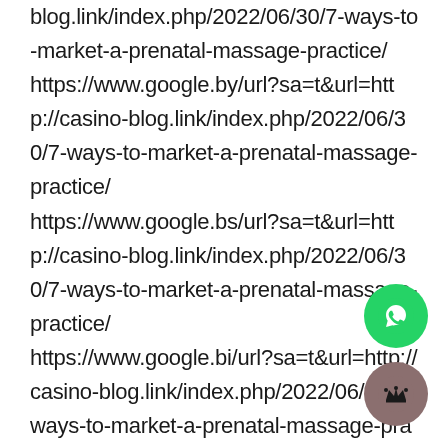blog.link/index.php/2022/06/30/7-ways-to-market-a-prenatal-massage-practice/ https://www.google.by/url?sa=t&url=http://casino-blog.link/index.php/2022/06/30/7-ways-to-market-a-prenatal-massage-practice/ https://www.google.bs/url?sa=t&url=http://casino-blog.link/index.php/2022/06/30/7-ways-to-market-a-prenatal-massage-practice/ https://www.google.bi/url?sa=t&url=http://casino-blog.link/index.php/2022/06/30/7-ways-to-market-a-prenatal-massage-practice/ https://www.google.bg/url?sa=t&url=http://casino-blog.link/index.php/2022/06/30/7-ways-to-market-a-prenatal-massage-practice/ https://www.google.bf/url?sa=t&url=http://casino-blog.link/index.php/2022/06/30/7-ways-to-market-a-prenatal-massage-practice/
[Figure (illustration): Green WhatsApp button (circle with phone icon)]
[Figure (illustration): Brown/mauve circle with crown icon]